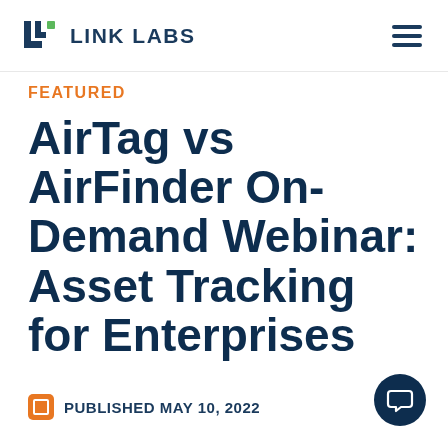LINK LABS
FEATURED
AirTag vs AirFinder On-Demand Webinar: Asset Tracking for Enterprises
PUBLISHED MAY 10, 2022